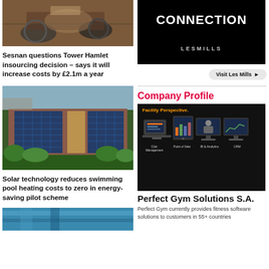[Figure (photo): Aerial or close-up photo of bicycle mechanics/workshop scene]
Sesnan questions Tower Hamlet insourcing decision – says it will increase costs by £2.1m a year
[Figure (photo): Les Mills CONNECTION advertisement with black background and white bold text]
[Figure (photo): Visit Les Mills button]
Company Profile
[Figure (photo): Perfect Gym Solutions ad showing Facility Perspective with devices: Club Management, Point of Sale, BI & Analytics, CRM]
Perfect Gym Solutions S.A.
Perfect Gym currently provides fitness software solutions to customers in 55+ countries
[Figure (photo): Aerial photo of building with solar panels on roof]
Solar technology reduces swimming pool heating costs to zero in energy-saving pilot scheme
[Figure (photo): Partial photo visible at bottom of page - appears to be a blue structure or water]